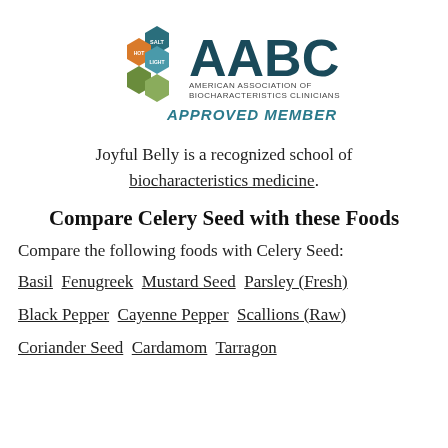[Figure (logo): AABC - American Association of Biocharacteristics Clinicians logo with hexagon shapes in teal, orange, and green, large AABC letters, and 'APPROVED MEMBER' text in teal italic bold]
Joyful Belly is a recognized school of biocharacteristics medicine.
Compare Celery Seed with these Foods
Compare the following foods with Celery Seed:
Basil  Fenugreek  Mustard Seed  Parsley (Fresh)
Black Pepper  Cayenne Pepper  Scallions (Raw)
Coriander Seed  Cardamom  Tarragon